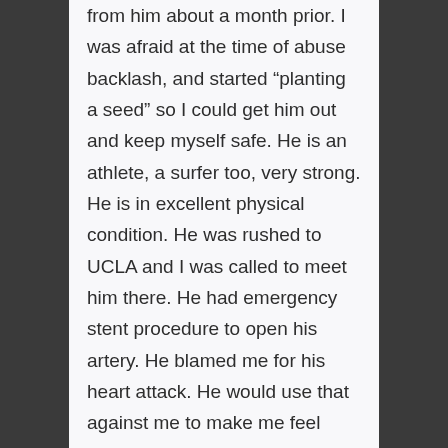from him about a month prior. I was afraid at the time of abuse backlash, and started “planting a seed” so I could get him out and keep myself safe. He is an athlete, a surfer too, very strong. He is in excellent physical condition. He was rushed to UCLA and I was called to meet him there. He had emergency stent procedure to open his artery. He blamed me for his heart attack. He would use that against me to make me feel guilty. The cardiologist said because of his familial history, his father and brother had heart attacks at exactly the same age, and